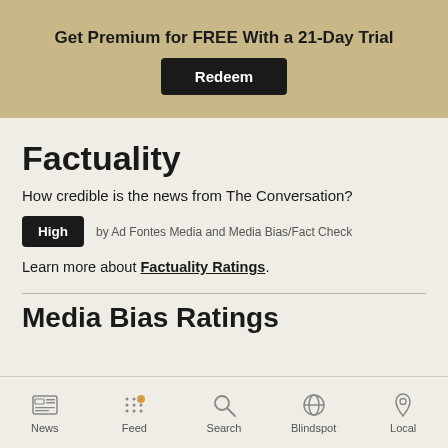Get Premium for FREE With a 21-Day Trial
Redeem
Factuality
How credible is the news from The Conversation?
High   by Ad Fontes Media and Media Bias/Fact Check
Learn more about Factuality Ratings.
Media Bias Ratings
News   Feed   Search   Blindspot   Local